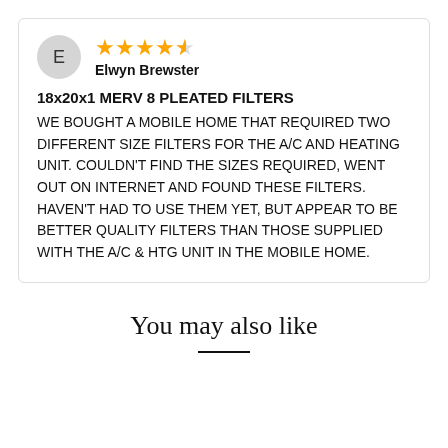E — Elwyn Brewster, 4.5 stars
18x20x1 MERV 8 PLEATED FILTERS
WE BOUGHT A MOBILE HOME THAT REQUIRED TWO DIFFERENT SIZE FILTERS FOR THE A/C AND HEATING UNIT. COULDN'T FIND THE SIZES REQUIRED, WENT OUT ON INTERNET AND FOUND THESE FILTERS. HAVEN'T HAD TO USE THEM YET, BUT APPEAR TO BE BETTER QUALITY FILTERS THAN THOSE SUPPLIED WITH THE A/C & HTG UNIT IN THE MOBILE HOME.
You may also like